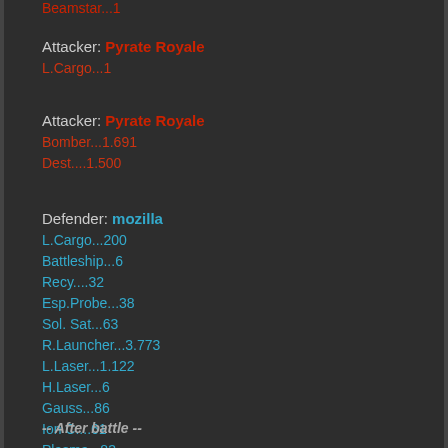Beamstar...1
Attacker: Pyrate Royale
L.Cargo...1
Attacker: Pyrate Royale
Bomber...1.691
Dest....1.500
Defender: mozilla
L.Cargo...200
Battleship...6
Recy....32
Esp.Probe...38
Sol. Sat...63
R.Launcher...3.773
L.Laser...1.122
H.Laser...6
Gauss...86
Ion C....61
Plasma...83
S.Dome...1
L.Dome...1
-- After battle --